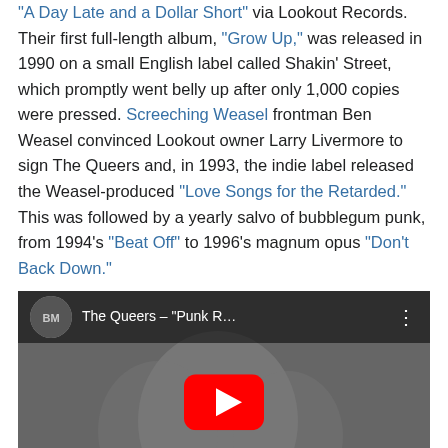"A Day Late and a Dollar Short" via Lookout Records. Their first full-length album, "Grow Up," was released in 1990 on a small English label called Shakin' Street, which promptly went belly up after only 1,000 copies were pressed. Screeching Weasel frontman Ben Weasel convinced Lookout owner Larry Livermore to sign The Queers and, in 1993, the indie label released the Weasel-produced "Love Songs for the Retarded." This was followed by a yearly salvo of bubblegum punk, from 1994's "Beat Off" to 1996's magnum opus "Don't Back Down."
[Figure (screenshot): YouTube video embed showing The Queers - 'Punk R...' with a black and white photo of people on bikes, a red YouTube play button in the center, channel avatar in top left, and three-dot menu in top right.]